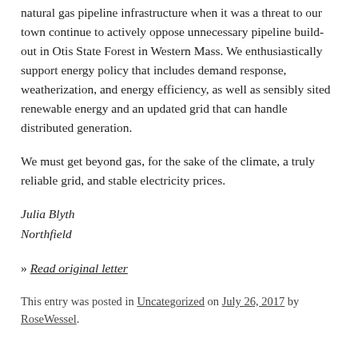natural gas pipeline infrastructure when it was a threat to our town continue to actively oppose unnecessary pipeline build-out in Otis State Forest in Western Mass. We enthusiastically support energy policy that includes demand response, weatherization, and energy efficiency, as well as sensibly sited renewable energy and an updated grid that can handle distributed generation.
We must get beyond gas, for the sake of the climate, a truly reliable grid, and stable electricity prices.
Julia Blyth
Northfield
» Read original letter
This entry was posted in Uncategorized on July 26, 2017 by RoseWessel.